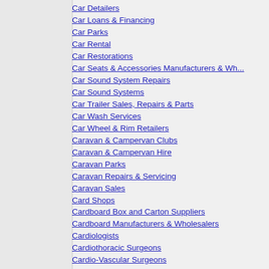Car Detailers
Car Loans & Financing
Car Parks
Car Rental
Car Restorations
Car Seats & Accessories Manufacturers & Wh...
Car Sound System Repairs
Car Sound Systems
Car Trailer Sales, Repairs & Parts
Car Wash Services
Car Wheel & Rim Retailers
Caravan & Campervan Clubs
Caravan & Campervan Hire
Caravan Parks
Caravan Repairs & Servicing
Caravan Sales
Card Shops
Cardboard Box and Carton Suppliers
Cardboard Manufacturers & Wholesalers
Cardiologists
Cardiothoracic Surgeons
Cardio-Vascular Surgeons
Career Guidance
Carpenters & Joiners